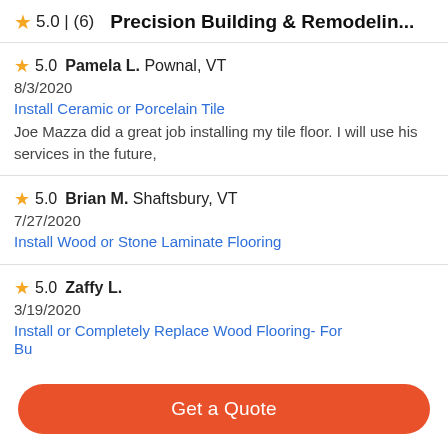5.0 | (6)  Precision Building & Remodelin...
5.0  Pamela L. Pownal, VT
8/3/2020
Install Ceramic or Porcelain Tile
Joe Mazza did a great job installing my tile floor. I will use his services in the future,
5.0  Brian M. Shaftsbury, VT
7/27/2020
Install Wood or Stone Laminate Flooring
5.0  Zaffy L.
3/19/2020
Install or Completely Replace Wood Flooring- For Bu...
Get a Quote